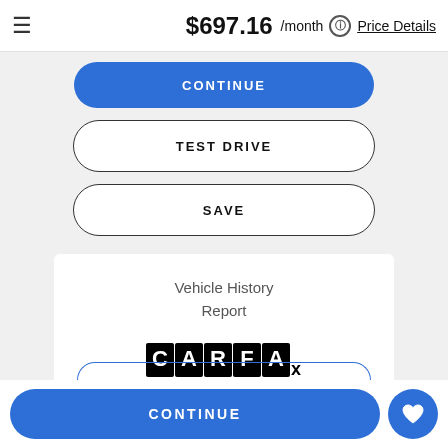$697.16 /month ⓘ Price Details
[Figure (screenshot): Blue CONTINUE button (partially visible at top of scroll area)]
[Figure (screenshot): TEST DRIVE outlined button]
[Figure (screenshot): SAVE outlined button]
[Figure (screenshot): Vehicle History Report card with CARFAX logo]
[Figure (screenshot): Partially visible CONTINUE button outline at bottom of scroll area]
[Figure (screenshot): Bottom sticky bar with CONTINUE button and heart icon button]